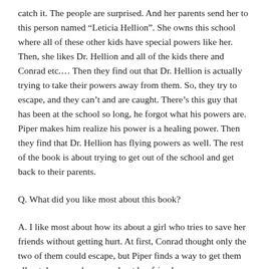catch it.  The people are surprised. And her parents send her to this person named “Leticia Hellion”.  She owns this school where all of these other kids have special powers like her.  Then, she likes Dr. Hellion and all of the kids there and Conrad etc.…  Then they find out that Dr. Hellion is actually trying to take their powers away from them.  So, they try to escape, and they can’t and are caught.  There’s this guy that has been at the school so long, he forgot what his powers are.  Piper makes him realize his power is a healing power.  Then they find that Dr. Hellion has flying powers as well.  The rest of the book is about trying to get out of the school and get back to their parents.
Q.  What did you like most about this book?
A.  I like most about how its about a girl who tries to save her friends without getting hurt.  At first, Conrad thought only the two of them could escape, but Piper finds a way to get them all out, because she cares about her friends.